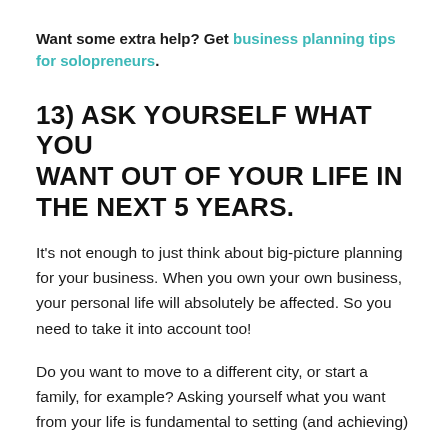Want some extra help? Get business planning tips for solopreneurs.
13) ASK YOURSELF WHAT YOU WANT OUT OF YOUR LIFE IN THE NEXT 5 YEARS.
It's not enough to just think about big-picture planning for your business. When you own your own business, your personal life will absolutely be affected. So you need to take it into account too!
Do you want to move to a different city, or start a family, for example? Asking yourself what you want from your life is fundamental to setting (and achieving)